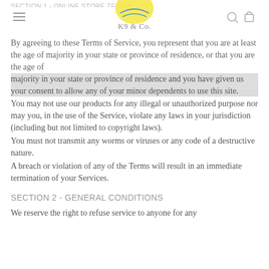SECTION 1 - ONLINE STORE TERMS
[Figure (logo): K9 & Co. logo with yellow circle and globe icon above navigation bar]
By agreeing to these Terms of Service, you represent that you are at least the age of majority in your state or province of residence, or that you are the age of majority in your state or province of residence and you have given us your consent to allow any of your minor dependents to use this site.
You may not use our products for any illegal or unauthorized purpose nor may you, in the use of the Service, violate any laws in your jurisdiction (including but not limited to copyright laws).
You must not transmit any worms or viruses or any code of a destructive nature.
A breach or violation of any of the Terms will result in an immediate termination of your Services.
SECTION 2 - GENERAL CONDITIONS
We reserve the right to refuse service to anyone for any